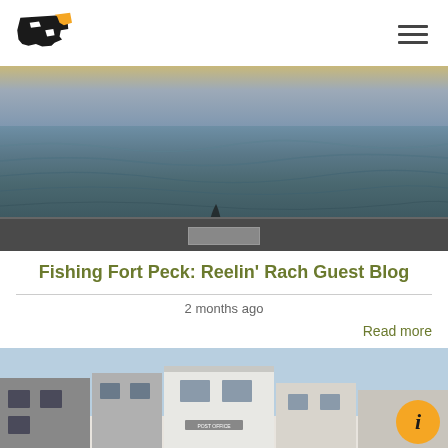Montana logo and navigation menu
[Figure (photo): View from a boat on Fort Peck Lake, showing choppy water, a wide horizon line, dramatic cloudy sky with golden sunset hues, and the boat's dark deck in the foreground]
Fishing Fort Peck: Reelin' Rach Guest Blog
2 months ago
Read more
[Figure (photo): Street view of small town buildings including a white post office building, with a blue sky backdrop and an orange information badge overlay in the lower right corner]